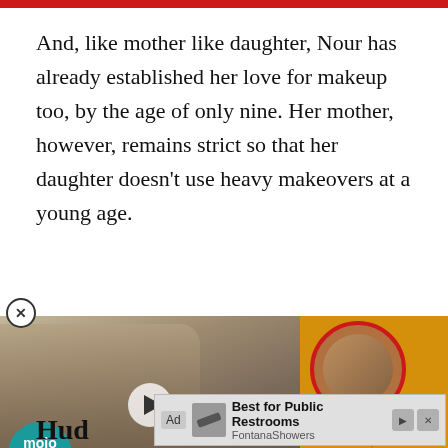And, like mother like daughter, Nour has already established her love for makeup too, by the age of only nine. Her mother, however, remains strict so that her daughter doesn't use heavy makeovers at a young age.
[Figure (screenshot): Video advertisement thumbnail showing a couple on the left side and a tabloid-style image on the right with text 'ALIVE', 'WORLD EXCLUSIVE PICTURES' and a mojo logo badge, with a play button overlay]
[Figure (screenshot): Banner advertisement for FontanaShowers - Best for Public Restrooms, with Ad label and skip/close buttons]
Hud